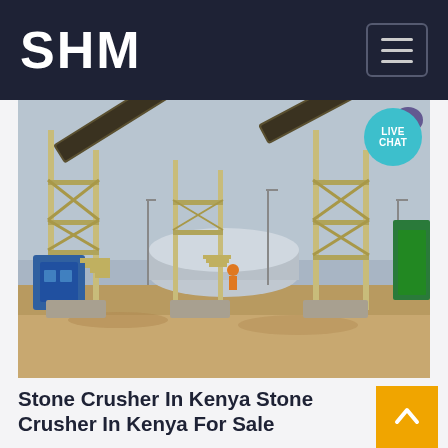SHM
[Figure (photo): Industrial stone crushing plant with conveyor belts, metal scaffolding structures, and machinery on a sandy ground under a cloudy sky]
Stone Crusher In Kenya Stone Crusher In Kenya For Sale
Kenya Available Stock Mobile Stone Crusher Plant KSh 10,000,000 Price negotiable mobile